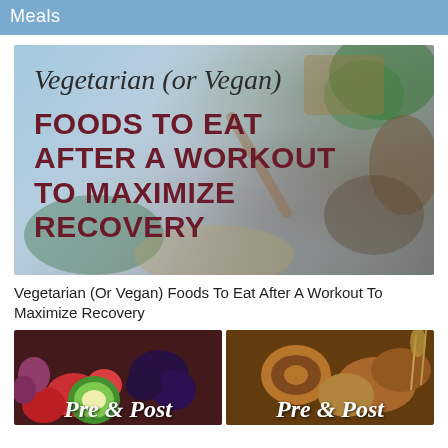Meals
[Figure (photo): Promotional image for vegetarian/vegan foods article showing various grains, legumes, nuts and vegetables on a light blue background, with handwritten-style text 'Vegetarian (or Vegan)' and bold dark red text 'FOODS TO EAT AFTER A WORKOUT TO MAXIMIZE RECOVERY']
Vegetarian (Or Vegan) Foods To Eat After A Workout To Maximize Recovery
[Figure (photo): Two side-by-side images at bottom: left shows colorful mixed berries and kiwi fruits; right shows pretzels, bread and baked goods. Both images have stylized italic text reading 'Pre & Post']